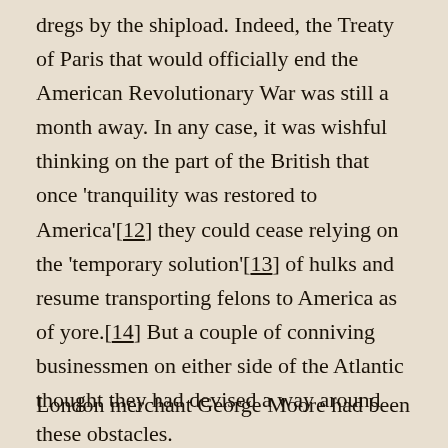dregs by the shipload. Indeed, the Treaty of Paris that would officially end the American Revolutionary War was still a month away. In any case, it was wishful thinking on the part of the British that once 'tranquility was restored to America'[12] they could cease relying on the 'temporary solution'[13] of hulks and resume transporting felons to America as of yore.[14] But a couple of conniving businessmen on either side of the Atlantic thought they had devised a way around these obstacles.
London merchant George Moore had been